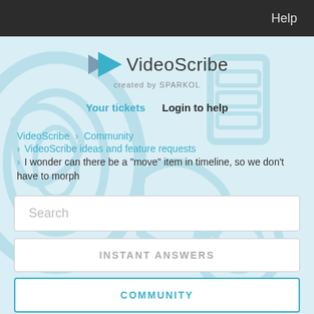Help
[Figure (logo): VideoScribe logo with play button icon and text 'VideoScribe created by SPARKOL']
Your tickets   Login to help
VideoScribe › Community › VideoScribe ideas and feature requests › I wonder can there be a "move" item in timeline, so we don't have to morph
Search
INSTANT ANSWERS
COMMUNITY